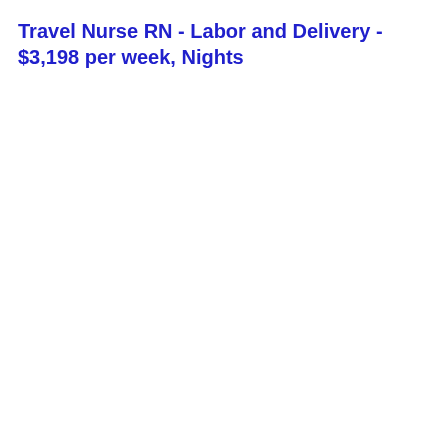Travel Nurse RN - Labor and Delivery - $3,198 per week, Nights